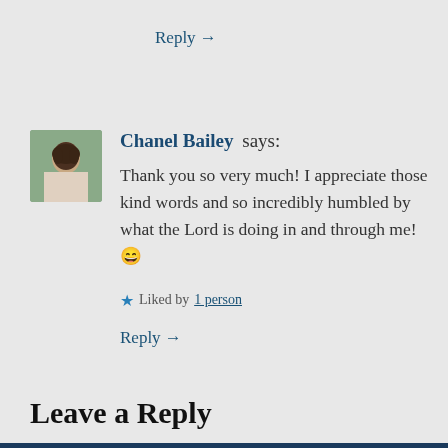Reply →
Chanel Bailey says:
Thank you so very much! I appreciate those kind words and so incredibly humbled by what the Lord is doing in and through me!😄
★ Liked by 1 person
Reply →
Leave a Reply